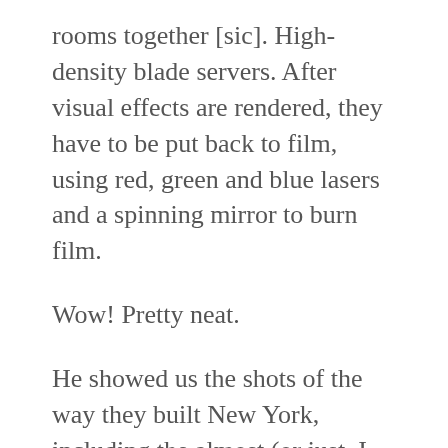rooms together [sic]. High-density blade servers. After visual effects are rendered, they have to be put back to film, using red, green and blue lasers and a spinning mirror to burn film.
Wow! Pretty neat.
He showed us the shots of the way they built New York, including the almost (or just, I forget) finished Empire State Building. Also, he had many shots of the studio and outdoors with green screens, and it was just fabulous. And how they animated Kong and how it was different from Gollem.